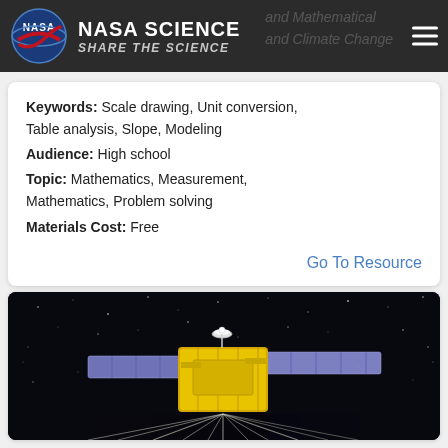NASA SCIENCE – SHARE THE SCIENCE
Keywords: Scale drawing, Unit conversion, Table analysis, Slope, Modeling
Audience: High school
Topic: Mathematics, Measurement, Mathematics, Problem solving
Materials Cost: Free
Go To Resource
[Figure (photo): Illustration of a NASA satellite spacecraft with yellow body, blue solar panels, and a white dish antenna, shown in space against a dark starfield background with beam/ray effects below]